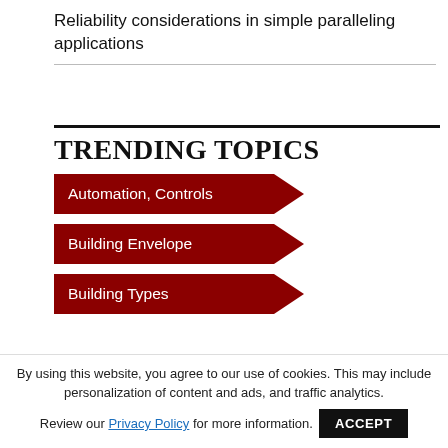Reliability considerations in simple paralleling applications
TRENDING TOPICS
Automation, Controls
Building Envelope
Building Types
By using this website, you agree to our use of cookies. This may include personalization of content and ads, and traffic analytics. Review our Privacy Policy for more information.